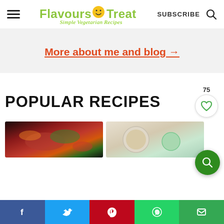Flavours Treat — Simple Vegetarian Recipes | SUBSCRIBE
More about me and blog →
POPULAR RECIPES
[Figure (photo): Food photo: stir-fried vegetables and sauce in a wok/pan]
[Figure (photo): Food photo: grains/seeds in a small bowl on a wooden surface]
Social share bar: Facebook, Twitter, Pinterest, WhatsApp, Email